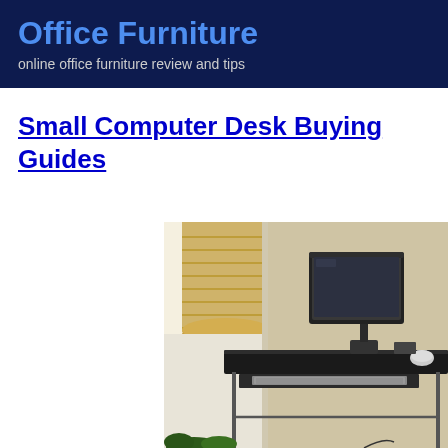Office Furniture
online office furniture review and tips
Small Computer Desk Buying Guides
[Figure (photo): A small black glass computer desk with a flat-screen monitor, keyboard on a sliding tray, and a mouse, positioned near a window with a bamboo shade. Green plants visible at the bottom.]